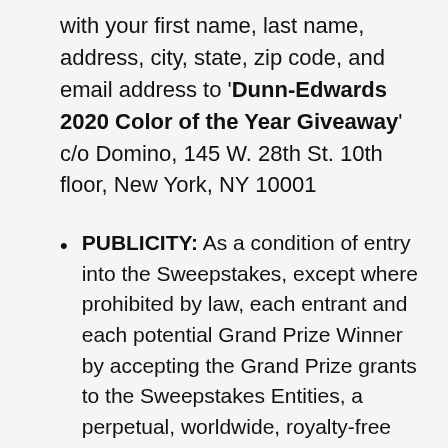with your first name, last name, address, city, state, zip code, and email address to 'Dunn-Edwards 2020 Color of the Year Giveaway' c/o Domino, 145 W. 28th St. 10th floor, New York, NY 10001
PUBLICITY: As a condition of entry into the Sweepstakes, except where prohibited by law, each entrant and each potential Grand Prize Winner by accepting the Grand Prize grants to the Sweepstakes Entities, a perpetual, worldwide, royalty-free license and right to publicize, broadcast, display and/or otherwise use the